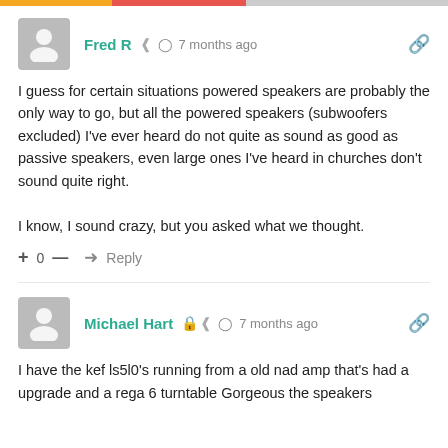Fred R  7 months ago
I guess for certain situations powered speakers are probably the only way to go, but all the powered speakers (subwoofers excluded) I've ever heard do not quite as sound as good as passive speakers, even large ones I've heard in churches don't sound quite right.

I know, I sound crazy, but you asked what we thought.
+ 0 —  Reply
Michael Hart  7 months ago
I have the kef ls5l0's running from a old nad amp that's had a upgrade and a rega 6 turntable Gorgeous the speakers